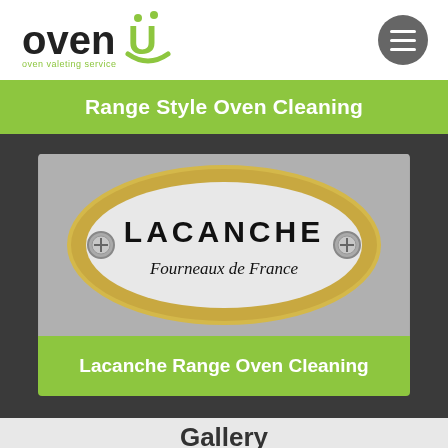[Figure (logo): OvenU oven valeting service logo with green swoosh and tagline]
Range Style Oven Cleaning
[Figure (photo): Lacanche Fourneaux de France brass oval badge/plaque on grey background]
Lacanche Range Oven Cleaning
Gallery